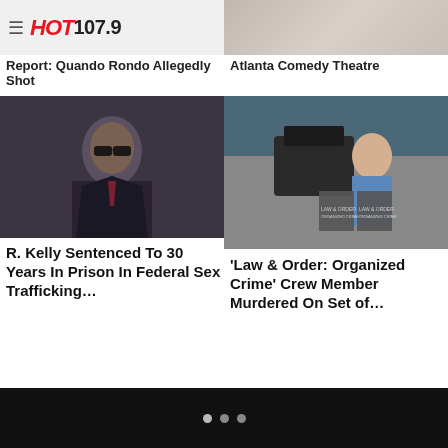HOT 107.9
[Figure (photo): Blurred background image behind HOT 107.9 logo header]
[Figure (photo): Atlanta Comedy Theatre background photo, top right]
Report: Quando Rondo Allegedly Shot
Atlanta Comedy Theatre
[Figure (photo): R. Kelly in dark suit and sunglasses, federal court appearance]
[Figure (photo): Law and Order Organized Crime crew member on set with director chairs]
R. Kelly Sentenced To 30 Years In Prison In Federal Sex Trafficking…
'Law & Order: Organized Crime' Crew Member Murdered On Set of…